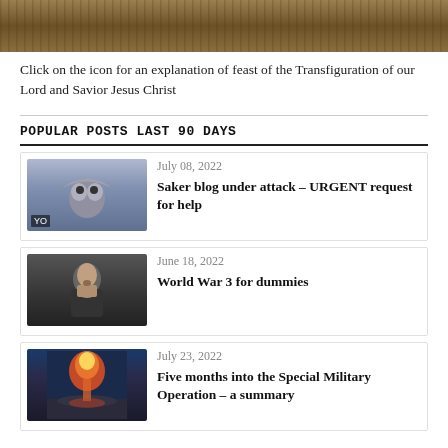[Figure (photo): Partial view of a weathered/rusty image at the top of the page, appears to be a religious icon or banner]
Click on the icon for an explanation of feast of the Transfiguration of our Lord and Savior Jesus Christ
POPULAR POSTS LAST 90 DAYS
[Figure (photo): Thumbnail image of an owl with spread wings against a grey background]
July 08, 2022
Saker blog under attack – URGENT request for help
[Figure (photo): Thumbnail image of a bearded man with glasses looking thoughtful]
June 18, 2022
World War 3 for dummies
[Figure (photo): Thumbnail image of a nuclear explosion mushroom cloud over a city]
July 23, 2022
Five months into the Special Military Operation – a summary